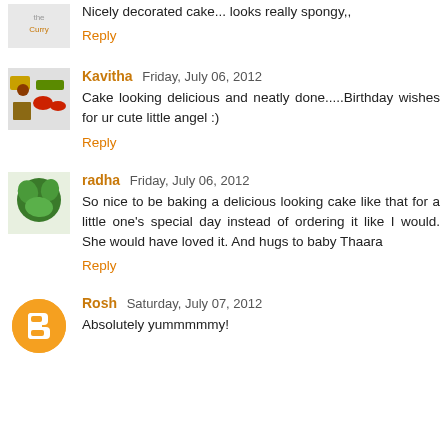Nicely decorated cake... looks really spongy,,
Reply
Kavitha Friday, July 06, 2012
Cake looking delicious and neatly done.....Birthday wishes for ur cute little angel :)
Reply
radha Friday, July 06, 2012
So nice to be baking a delicious looking cake like that for a little one's special day instead of ordering it like I would. She would have loved it. And hugs to baby Thaara
Reply
Rosh Saturday, July 07, 2012
Absolutely yummmmmy!